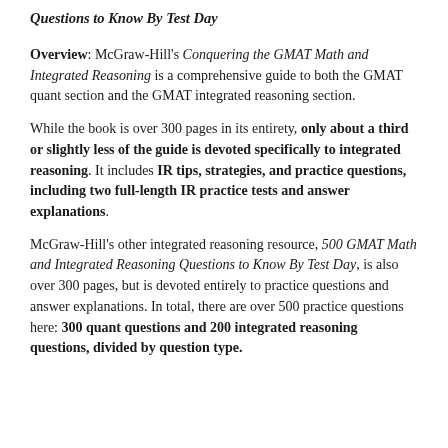Questions to Know By Test Day
Overview: McGraw-Hill's Conquering the GMAT Math and Integrated Reasoning is a comprehensive guide to both the GMAT quant section and the GMAT integrated reasoning section.
While the book is over 300 pages in its entirety, only about a third or slightly less of the guide is devoted specifically to integrated reasoning. It includes IR tips, strategies, and practice questions, including two full-length IR practice tests and answer explanations.
McGraw-Hill's other integrated reasoning resource, 500 GMAT Math and Integrated Reasoning Questions to Know By Test Day, is also over 300 pages, but is devoted entirely to practice questions and answer explanations. In total, there are over 500 practice questions here: 300 quant questions and 200 integrated reasoning questions, divided by question type.